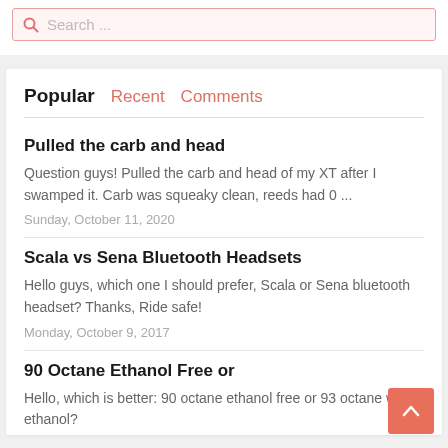Search ...
Popular   Recent   Comments
Pulled the carb and head
Question guys! Pulled the carb and head of my XT after I swamped it. Carb was squeaky clean, reeds had 0 ...
Sunday, October 11, 2020
Scala vs Sena Bluetooth Headsets
Hello guys, which one I should prefer, Scala or Sena bluetooth headset? Thanks, Ride safe!
Monday, October 9, 2017
90 Octane Ethanol Free or
Hello, which is better: 90 octane ethanol free or 93 octane with ethanol?